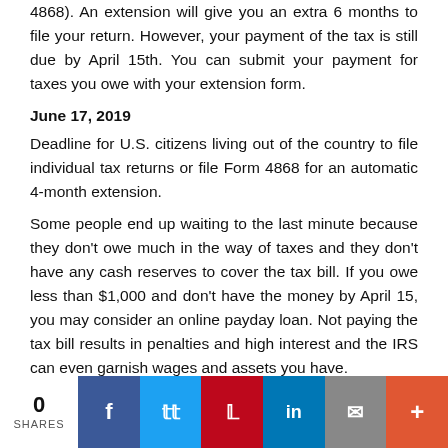4868). An extension will give you an extra 6 months to file your return. However, your payment of the tax is still due by April 15th. You can submit your payment for taxes you owe with your extension form.
June 17, 2019
Deadline for U.S. citizens living out of the country to file individual tax returns or file Form 4868 for an automatic 4-month extension.
Some people end up waiting to the last minute because they don't owe much in the way of taxes and they don't have any cash reserves to cover the tax bill. If you owe less than $1,000 and don't have the money by April 15, you may consider an online payday loan. Not paying the tax bill results in penalties and high interest and the IRS can even garnish wages and assets you have.
0 SHARES | Facebook | Twitter | Pinterest | LinkedIn | Email | More